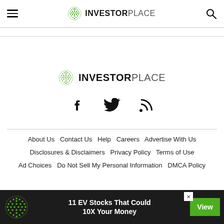InvestorPlace
[Figure (logo): InvestorPlace logo with green globe icon and INVESTORPLACE wordmark]
[Figure (infographic): Social media icons: Facebook, Twitter, RSS feed]
About Us   Contact Us   Help   Careers   Advertise With Us   Disclosures & Disclaimers   Privacy Policy   Terms of Use   Ad Choices   Do Not Sell My Personal Information   DMCA Policy
Financial Market Data powered by FinancialContent Services, Inc. All rights reserved. Nasdaq quotes delayed at least 15 minutes, all others at least
[Figure (infographic): Ad banner: 11 EV Stocks That Could 10X Your Money with View button]